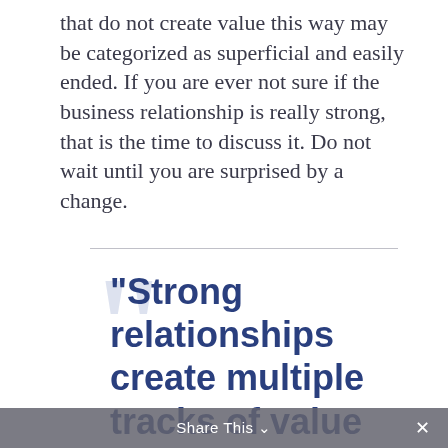that do not create value this way may be categorized as superficial and easily ended. If you are ever not sure if the business relationship is really strong, that is the time to discuss it. Do not wait until you are surprised by a change.
“Strong relationships create multiple tracks of value that would be
Share This ⌄  ×